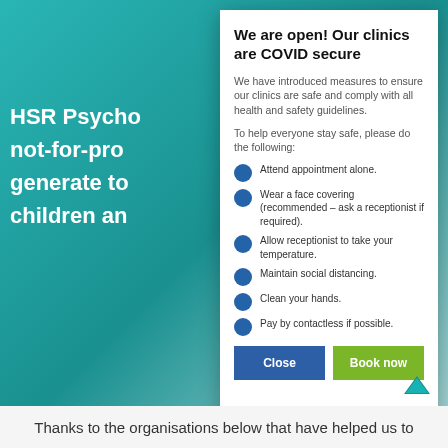We are open! Our clinics are COVID secure
We have introduced measures to ensure our clinics are safe and comply with all health and safety guidelines.
To help everyone stay safe, please do the following:
Attend appointment alone.
Wear a face covering (recommended – ask a receptionist if required).
Allow receptionist to take your temperature.
Maintain social distancing.
Clean your hands.
Pay by contactless if possible.
Thanks to the organisations below that have helped us to